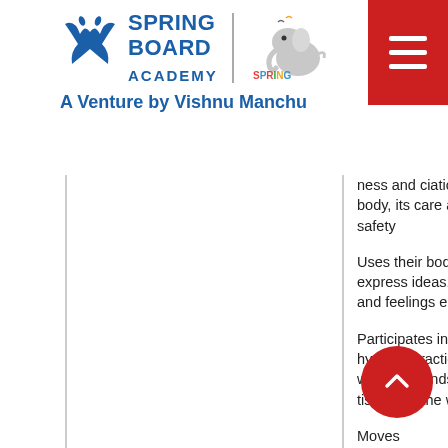[Figure (logo): SpringBoard Academy logo with butterfly icon and SpringBoard International Preschool elephant logo, with text 'A Venture by Vishnu Manchu']
ness and ciation of own body, its care and safety
Uses their bodies to express ideas, thoughts and feelings e.g. dance
Participates in support hygiene practices e.g. washing hands, placing tissues in the waste bin
Moves